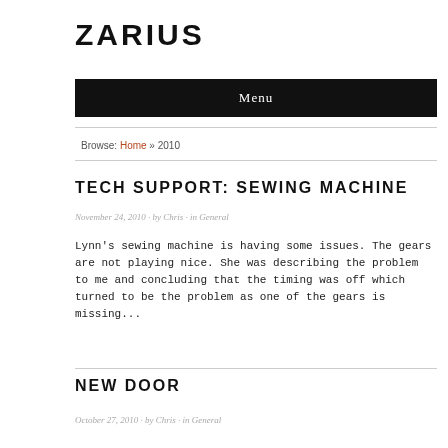ZARIUS
Menu
Browse: Home » 2010
TECH SUPPORT: SEWING MACHINE
November 24, 2010 · by Chris · in General
Lynn's sewing machine is having some issues. The gears are not playing nice. She was describing the problem to me and concluding that the timing was off which turned to be the problem as one of the gears is missing...
NEW DOOR
October 27, 2010 · by Chris · in General